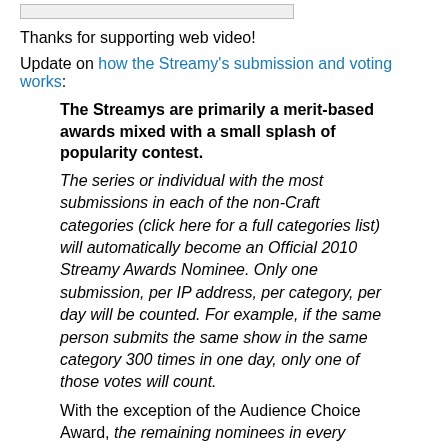[Figure (other): Small rectangular input or image box at top of page]
Thanks for supporting web video!
Update on how the Streamy's submission and voting works:
The Streamys are primarily a merit-based awards mixed with a small splash of popularity contest.
The series or individual with the most submissions in each of the non-Craft categories (click here for a full categories list) will automatically become an Official 2010 Streamy Awards Nominee. Only one submission, per IP address, per category, per day will be counted. For example, if the same person submits the same show in the same category 300 times in one day, only one of those votes will count.
With the exception of the Audience Choice Award, the remaining nominees in every category